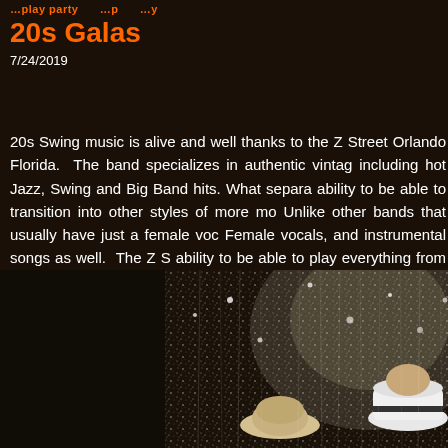…play party …
20s Galas
7/24/2019
20s Swing music is alive and well thanks to the Z Street Orlando Florida.  The band specializes in authentic vintage including hot Jazz, Swing and Big Band hits. What separa ability to be able to transition into other styles of more mod Unlike other bands that usually have just a female voc Female vocals, and instrumental songs as well.  The Z S ability to be able to play everything from the 1920s to t corporate event in Saint Petersburg and Miami.
[Figure (photo): Two performers on stage, one wearing a white fedora hat, against a sparkly curtain backdrop]